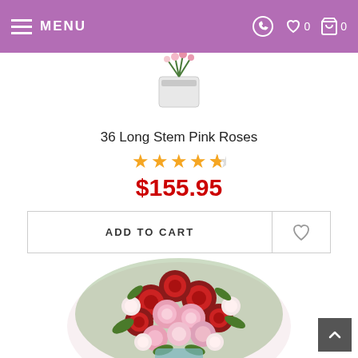MENU
[Figure (photo): Partial product image of a flower arrangement in a vase, cropped at top]
36 Long Stem Pink Roses
★★★★½ (4.5 star rating)
$155.95
ADD TO CART
[Figure (photo): Bouquet of red, pink, and white roses with green foliage]